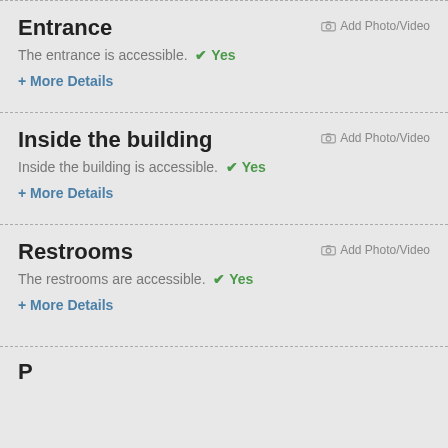Entrance
The entrance is accessible. ✔ Yes
+ More Details
Inside the building
Inside the building is accessible. ✔ Yes
+ More Details
Restrooms
The restrooms are accessible. ✔ Yes
+ More Details